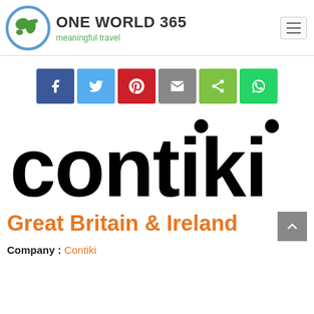ONE WORLD 365 meaningful travel
[Figure (logo): One World 365 website header with globe logo, brand name ONE WORLD 365, tagline 'meaningful travel', and hamburger menu icon]
[Figure (infographic): Social share buttons: Facebook, Twitter, Pinterest, Email, Share, WhatsApp]
[Figure (logo): Contiki company logo in large black bold text]
Great Britain & Ireland
Company : Contiki